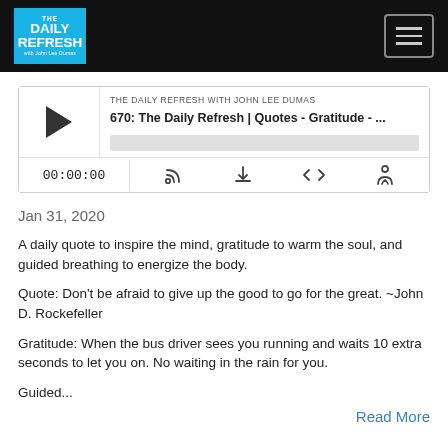THE DAILY REFRESH with John Lee Dumas — navigation bar with hamburger menu
[Figure (screenshot): Podcast audio player widget showing episode 670: The Daily Refresh | Quotes - Gratitude - ... with play button, time 00:00:00, and control icons for subscribe, download, embed, share]
Jan 31, 2020
A daily quote to inspire the mind, gratitude to warm the soul, and guided breathing to energize the body.
Quote: Don't be afraid to give up the good to go for the great. ~John D. Rockefeller
Gratitude: When the bus driver sees you running and waits 10 extra seconds to let you on. No waiting in the rain for you.
Guided...
Read More